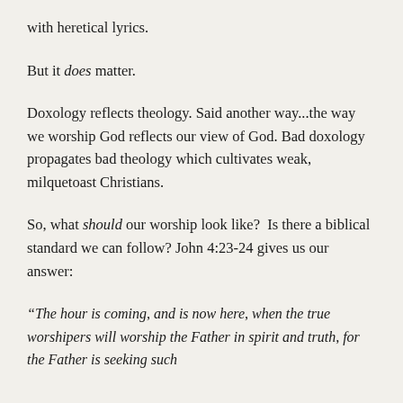with heretical lyrics.
But it does matter.
Doxology reflects theology. Said another way...the way we worship God reflects our view of God. Bad doxology propagates bad theology which cultivates weak, milquetoast Christians.
So, what should our worship look like?  Is there a biblical standard we can follow? John 4:23-24 gives us our answer:
“The hour is coming, and is now here, when the true worshipers will worship the Father in spirit and truth, for the Father is seeking such